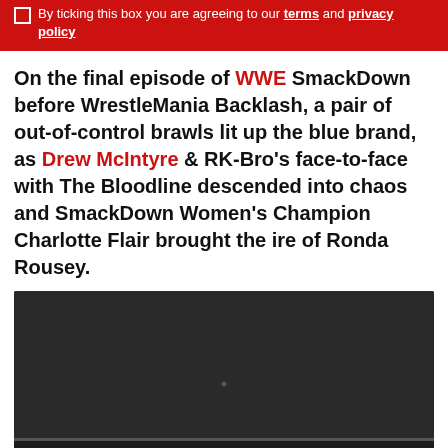By ticking this box you are agreeing to our terms and privacy policy
On the final episode of WWE SmackDown before WrestleMania Backlash, a pair of out-of-control brawls lit up the blue brand, as Drew McIntyre & RK-Bro's face-to-face with The Bloodline descended into chaos and SmackDown Women's Champion Charlotte Flair brought the ire of Ronda Rousey.
[Figure (screenshot): Embedded video player with dark background showing 0:00 timestamp, play button, mute icon, fullscreen icon, and options icon along the bottom control bar.]